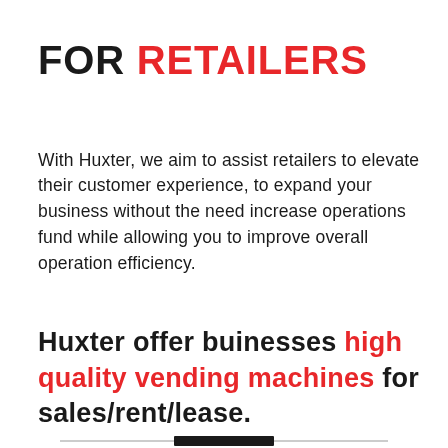FOR RETAILERS
With Huxter, we aim to assist retailers to elevate their customer experience, to expand your business without the need increase operations fund while allowing you to improve overall operation efficiency.
Huxter offer buinesses high quality vending machines for sales/rent/lease.